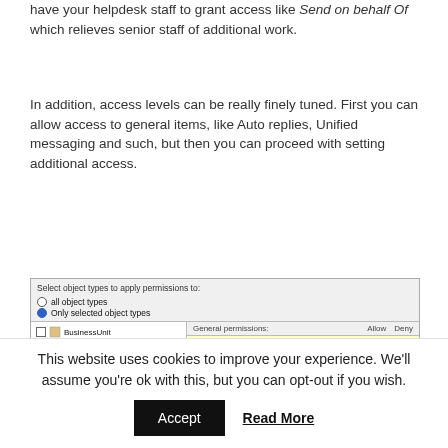have your helpdesk staff to grant access like Send on behalf Of which relieves senior staff of additional work.
In addition, access levels can be really finely tuned. First you can allow access to general items, like Auto replies, Unified messaging and such, but then you can proceed with setting additional access.
[Figure (screenshot): Windows dialog showing 'Select object types to apply permissions to:' with radio buttons for 'all object types' and 'Only selected object types'. Left panel shows a list: BusinessUnit, Computer, Contact, Container, Group, InetOrgPerson, OrganizationalUnit, User (checked). Right panel shows 'General permissions:' with Allow and Deny columns, listing Exchange permissions: Read Automatic Replies, Write Automatic Replies, Read Mailbox Policies, Write Mailbox Policies, Read Delivery Options, Write Delivery Options, and a partially visible row.]
This website uses cookies to improve your experience. We'll assume you're ok with this, but you can opt-out if you wish.
Accept   Read More